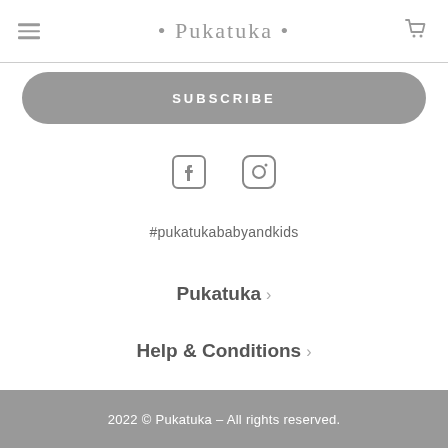• Pukatuka •
SUBSCRIBE
[Figure (illustration): Facebook and Instagram social media icons side by side]
#pukatukababyandkids
Pukatuka ›
Help & Conditions ›
2022 © Pukatuka – All rights reserved.